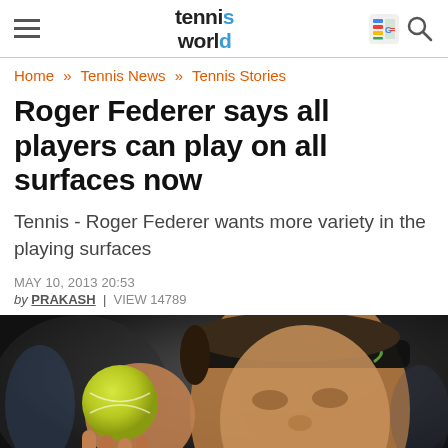tennis world — navigation header with menu icon, logo, Google News icon and search icon
Home » Tennis News » Tennis Stories
Roger Federer says all players can play on all surfaces now
Tennis - Roger Federer wants more variety in the playing surfaces
MAY 10, 2013 20:53
by PRAKASH  |  VIEW 14789
[Figure (photo): Close-up photo of Roger Federer holding a tennis ball, wearing a black Nike headband, preparing to serve on a clay court]